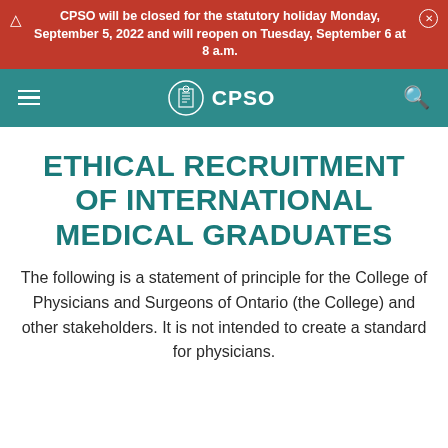CPSO will be closed for the statutory holiday Monday, September 5, 2022 and will reopen on Tuesday, September 6 at 8 a.m.
CPSO
ETHICAL RECRUITMENT OF INTERNATIONAL MEDICAL GRADUATES
The following is a statement of principle for the College of Physicians and Surgeons of Ontario (the College) and other stakeholders. It is not intended to create a standard for physicians.